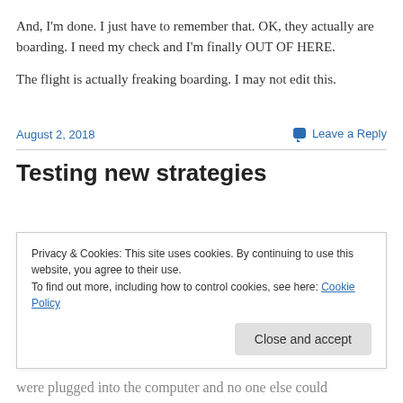And, I'm done.  I just have to remember that.  OK, they actually are boarding.  I need my check and I'm finally OUT OF HERE.
The flight is actually freaking boarding.  I may not edit this.
August 2, 2018
Leave a Reply
Testing new strategies
Privacy & Cookies: This site uses cookies. By continuing to use this website, you agree to their use.
To find out more, including how to control cookies, see here: Cookie Policy
Close and accept
were plugged into the computer and no one else could